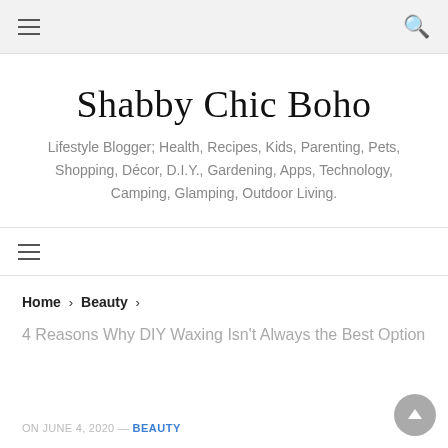Shabby Chic Boho — top navigation bar with hamburger menu and search icon
Shabby Chic Boho
Lifestyle Blogger; Health, Recipes, Kids, Parenting, Pets, Shopping, Décor, D.I.Y., Gardening, Apps, Technology, Camping, Glamping, Outdoor Living.
Secondary navigation bar with hamburger menu
Home > Beauty >
4 Reasons Why DIY Waxing Isn't Always the Best Option
ON JUNE 4, 2020 — BEAUTY